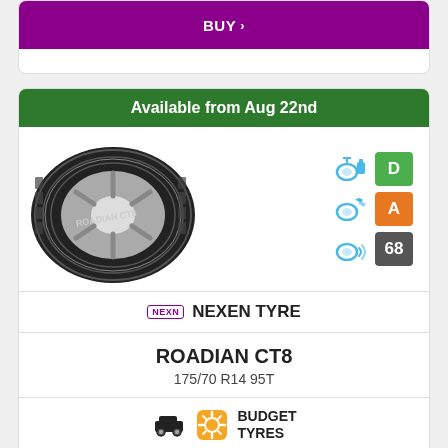BUY >
Available from Aug 22nd
[Figure (photo): Nexen Roadian CT8 tyre image with EU tyre label ratings: fuel efficiency D (green), wet grip A (orange), noise 68 (grey)]
NEXEN TYRE
ROADIAN CT8
175/70 R14 95T
BUDGET TYRES
£78.60